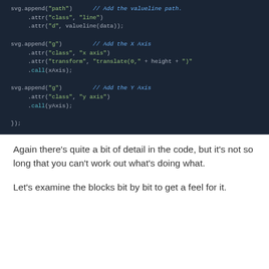[Figure (screenshot): Code block on dark blue background showing JavaScript/D3.js code: svg.append path and g elements with attr and call chained methods, with comments 'Add the valueline path.', 'Add the X Axis', 'Add the Y Axis', ending with });]
Again there's quite a bit of detail in the code, but it's not so long that you can't work out what's doing what.
Let's examine the blocks bit by bit to get a feel for it.